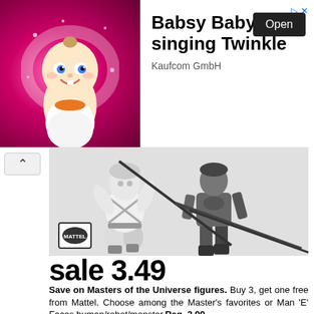[Figure (screenshot): Ad banner: Babsy Baby singing Twinkle app advertisement with animated baby character on pink background, Open button, and Kaufcom GmbH label]
[Figure (photo): Black and white catalog photo of Masters of the Universe action figures (He-Man and another character) with weapons, Mattel logo in lower left]
sale 3.49
Save on Masters of the Universe figures. Buy 3, get one free from Mattel. Choose among the Master's favorites or Man 'E' Faces human/robot/monster.Reg. 3.99